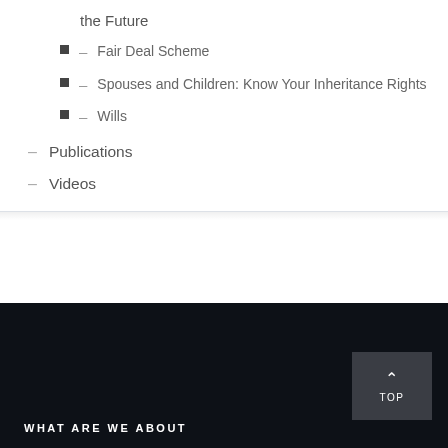the Future
– Fair Deal Scheme
– Spouses and Children: Know Your Inheritance Rights
– Wills
– Publications
– Videos
WHAT ARE WE ABOUT